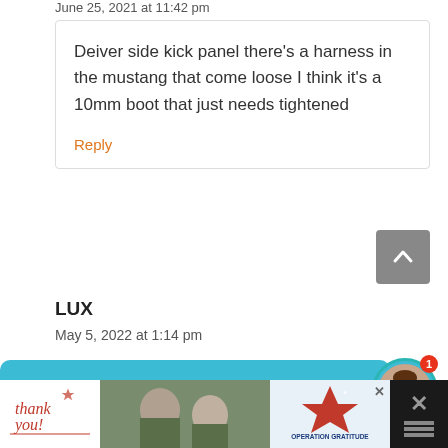June 25, 2021 at 11:42 pm
Deiver side kick panel there's a harness in the mustang that come loose I think it's a 10mm boot that just needs tightened
Reply
LUX
May 5, 2022 at 1:14 pm
Want to ask a Mechanic online now? I can connect you ...
[Figure (photo): Advertisement banner showing 'thank you' text with military imagery and Operation Gratitude logo]